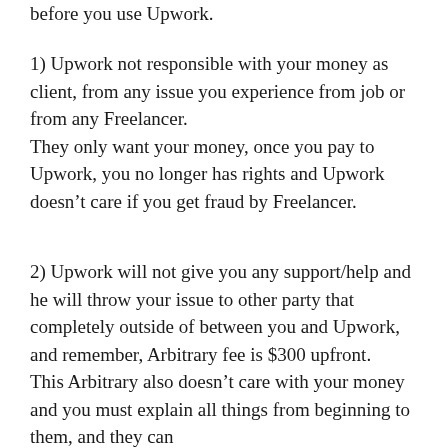before you use Upwork.
1) Upwork not responsible with your money as client, from any issue you experience from job or from any Freelancer.
They only want your money, once you pay to Upwork, you no longer has rights and Upwork doesn’t care if you get fraud by Freelancer.
2) Upwork will not give you any support/help and he will throw your issue to other party that completely outside of between you and Upwork, and remember, Arbitrary fee is $300 upfront.
This Arbitrary also doesn’t care with your money and you must explain all things from beginning to them, and they can